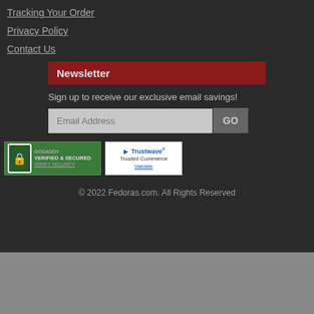Tracking Your Order
Privacy Policy
Contact Us
Newsletter
Sign up to receive our exclusive email savings!
[Figure (other): GoDaddy Verified & Secured badge with lock icon and Verify Security text]
[Figure (other): Trustwave Trusted Commerce Validate badge]
© 2022 Fedoras.com. All Rights Reserved